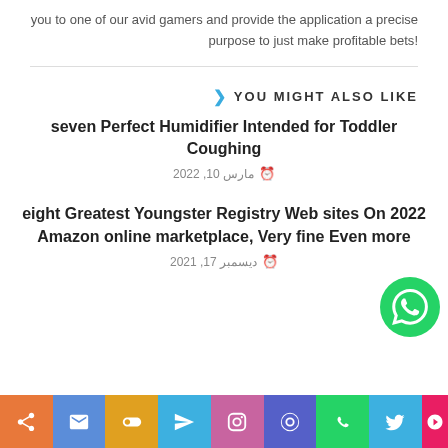you to one of our avid gamers and provide the application a precise !purpose to just make profitable bets
YOU MIGHT ALSO LIKE
seven Perfect Humidifier Intended for Toddler Coughing
مارس 10, 2022
eight Greatest Youngster Registry Web sites On 2022 Amazon online marketplace, Very fine Even more
دیسمبر 17, 2021